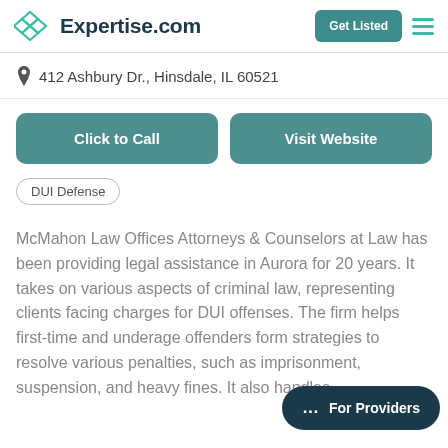Expertise.com
412 Ashbury Dr., Hinsdale, IL 60521
Click to Call
Visit Website
DUI Defense
McMahon Law Offices Attorneys & Counselors at Law has been providing legal assistance in Aurora for 20 years. It takes on various aspects of criminal law, representing clients facing charges for DUI offenses. The firm helps first-time and underage offenders form strategies to resolve various penalties, such as imprisonment, suspension, and heavy fines. It also handles